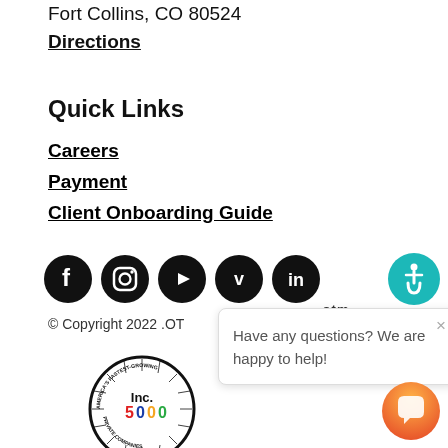Fort Collins, CO 80524
Directions
Quick Links
Careers
Payment
Client Onboarding Guide
[Figure (other): Social media icons: Facebook, Instagram, YouTube, Vimeo, LinkedIn — black circles with white icons]
[Figure (other): Accessibility icon — teal circle with white wheelchair symbol]
© Copyright 2022 .OT
.otm
[Figure (other): Chat popup with X close button and text: Have any questions? We are happy to help!]
[Figure (logo): Inc. 5000 America's Fastest Growing Private Companies badge/seal, circular black border with radiating lines, Inc. in black, 5000 in red/blue/yellow/green colors]
[Figure (other): Orange gradient chat bubble button in bottom right corner]